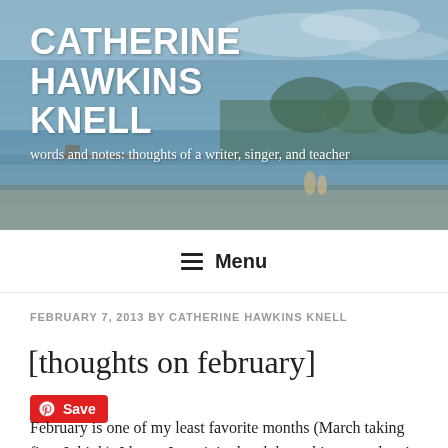[Figure (photo): Header banner photo of a waterfront/lake scene with trees and boats, with site title and tagline overlaid in white text]
CATHERINE HAWKINS KNELL
words and notes: thoughts of a writer, singer, and teacher
Menu
FEBRUARY 7, 2013 BY CATHERINE HAWKINS KNELL
[thoughts on february]
Save
February is one of my least favorite months (March taking first, I think). I know I can join the club on this one – there's just something about the post-Christmas-ness of February, the bleariness, the seeming-longness. One of my coworkers has been trying to convince me that in